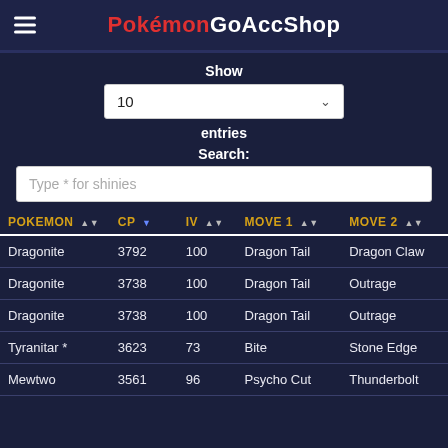PokémonGoAccShop
Show
10
entries
Search:
Type * for shinies
| POKEMON | CP | IV | MOVE 1 | MOVE 2 |
| --- | --- | --- | --- | --- |
| Dragonite | 3792 | 100 | Dragon Tail | Dragon Claw |
| Dragonite | 3738 | 100 | Dragon Tail | Outrage |
| Dragonite | 3738 | 100 | Dragon Tail | Outrage |
| Tyranitar * | 3623 | 73 | Bite | Stone Edge |
| Mewtwo | 3561 | 96 | Psycho Cut | Thunderbolt |